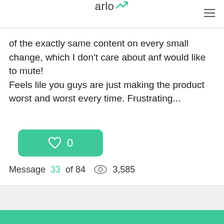arlo
of the exactly same content on every small change, which I don't care about anf would like to mute!
Feels lile you guys are just making the product worst and worst every time. Frustrating...
[Figure (other): Green like/heart button showing count of 0]
Message 33 of 84  👁 3,585